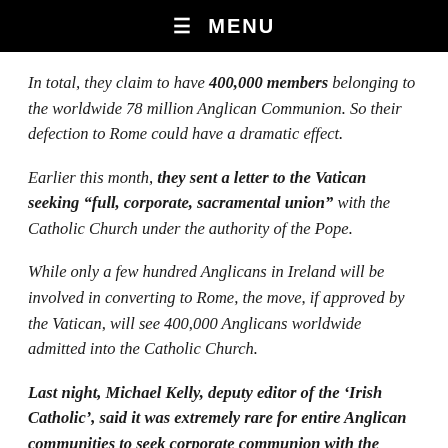☰ MENU
In total, they claim to have 400,000 members belonging to the worldwide 78 million Anglican Communion. So their defection to Rome could have a dramatic effect.
Earlier this month, they sent a letter to the Vatican seeking "full, corporate, sacramental union" with the Catholic Church under the authority of the Pope.
While only a few hundred Anglicans in Ireland will be involved in converting to Rome, the move, if approved by the Vatican, will see 400,000 Anglicans worldwide admitted into the Catholic Church.
Last night, Michael Kelly, deputy editor of the 'Irish Catholic', said it was extremely rare for entire Anglican communities to seek corporate communion with the